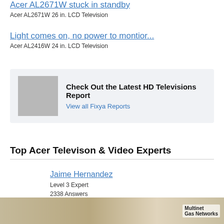Acer AL2671W stuck in standby
Acer AL2671W 26 in. LCD Television
Light comes on, no power to montior...
Acer AL2416W 24 in. LCD Television
[Figure (other): Ad box with gray image placeholder, bold text 'Check Out the Latest HD Televisions Report', blue link 'View all Fixya Reports']
Top Acer Televison & Video Experts
Jaime Hernandez
Level 3 Expert
2338 Answers
[Figure (photo): Multinet Gas Networks advertisement banner at bottom of page]